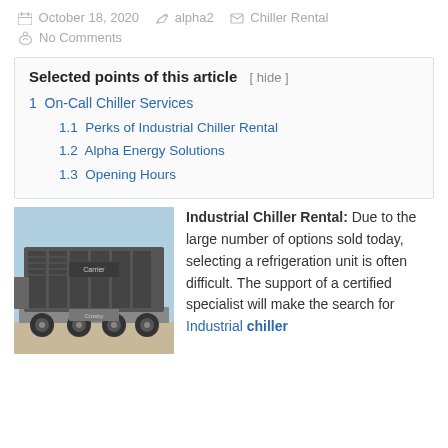October 18, 2020   alpha2   Chiller Rental
No Comments
Selected points of this article [ hide ]
1  On-Call Chiller Services
1.1  Perks of Industrial Chiller Rental
1.2  Alpha Energy Solutions
1.3  Opening Hours
[Figure (photo): Industrial chiller unit on a flatbed trailer truck]
Industrial Chiller Rental: Due to the large number of options sold today, selecting a refrigeration unit is often difficult. The support of a certified specialist will make the search for Industrial chiller